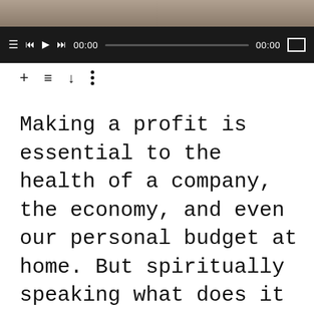[Figure (screenshot): Top image strip showing a partial landscape photo]
[Figure (screenshot): Audio player bar with controls: menu icon, skip back, play, skip forward, time 00:00, progress bar, time 00:00, and thumbnail icon on dark background]
[Figure (screenshot): Toolbar with icons: plus, list/settings, download, and vertical ellipsis menu]
Making a profit is essential to the health of a company, the economy, and even our personal budget at home. But spiritually speaking what does it mean to profit? We'll turn to Jesus' words on the subject on Truth For Life with